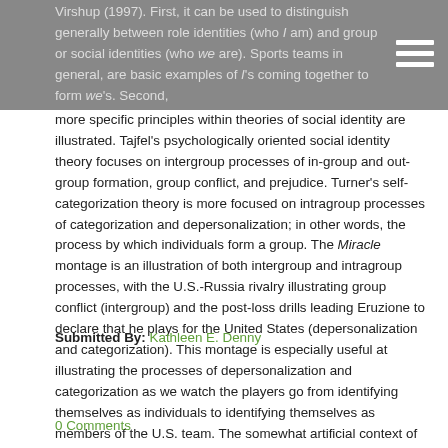Virshup (1997). First, it can be used to distinguish generally between role identities (who I am) and group or social identities (who we are). Sports teams in general, are basic examples of I's coming together to form we's.
Second, more specific principles within theories of social identity are illustrated. Tajfel's psychologically oriented social identity theory focuses on intergroup processes of in-group and out-group formation, group conflict, and prejudice. Turner's self-categorization theory is more focused on intragroup processes of categorization and depersonalization; in other words, the process by which individuals form a group. The Miracle montage is an illustration of both intergroup and intragroup processes, with the U.S.-Russia rivalry illustrating group conflict (intergroup) and the post-loss drills leading Eruzione to declare that he plays for the United States (depersonalization and categorization). This montage is especially useful at illustrating the processes of depersonalization and categorization as we watch the players go from identifying themselves as individuals to identifying themselves as members of the U.S. team. The somewhat artificial context of sports can be an accessible entry point to talking about other more "real world" contexts of group identity, both in terms of intergroup conflict and intragroup processes of depersonalization (e.g., ethnic, tribal, and state identifications and conflicts).
Submitted By: Kathleen E. Denny
0 Comments